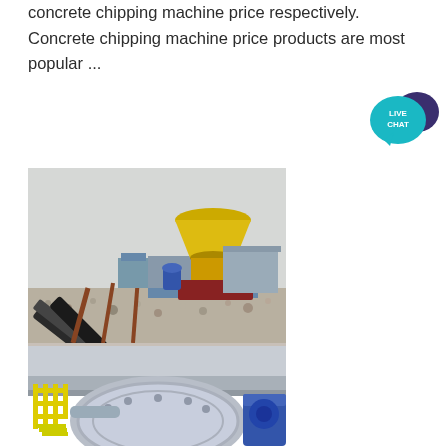concrete chipping machine price respectively. Concrete chipping machine price products are most popular ...
[Figure (photo): Industrial concrete chipping / crushing machine facility with conveyors, yellow cone crusher, and gravel ground surface]
[Figure (photo): Close-up of industrial machinery with yellow railings and large blue/grey cylindrical ball mill or drum equipment]